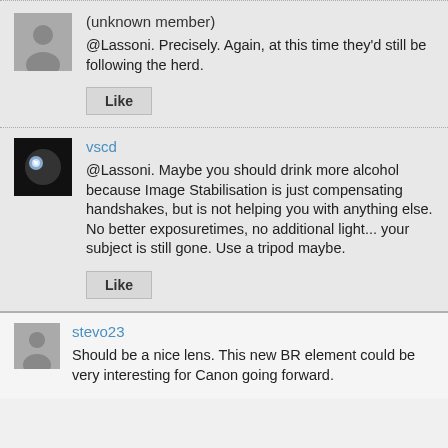(unknown member)
@Lassoni. Precisely. Again, at this time they'd still be following the herd.
Like
vscd
@Lassoni. Maybe you should drink more alcohol because Image Stabilisation is just compensating handshakes, but is not helping you with anything else. No better exposuretimes, no additional light... your subject is still gone. Use a tripod maybe.
Like
stevo23
Should be a nice lens. This new BR element could be very interesting for Canon going forward.